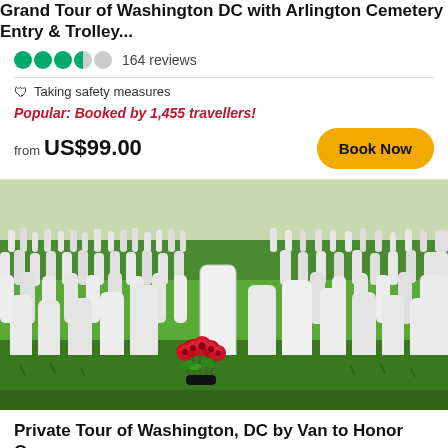Grand Tour of Washington DC with Arlington Cemetery Entry & Trolley...
164 reviews
Taking safety measures
Popular: Booked by 1,455 travellers!
from US$99.00
Book Now
[Figure (photo): Arlington National Cemetery with rows of white marble headstones on green grass, with red roses placed at one grave in the foreground]
Private Tour of Washington, DC by Van to Honor Our